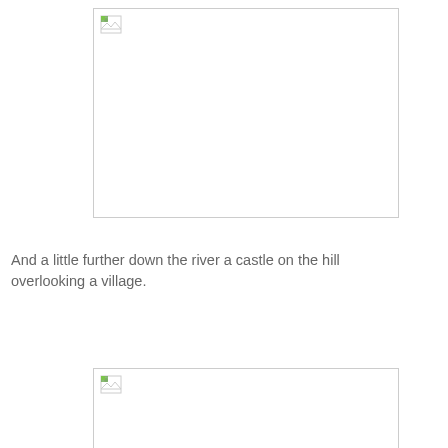[Figure (photo): Placeholder image (broken/unloaded) shown as white rectangle with broken image icon in top-left corner]
And a little further down the river a castle on the hill overlooking a village.
[Figure (photo): Placeholder image (broken/unloaded) shown as white rectangle with broken image icon in top-left corner, partially visible at bottom]